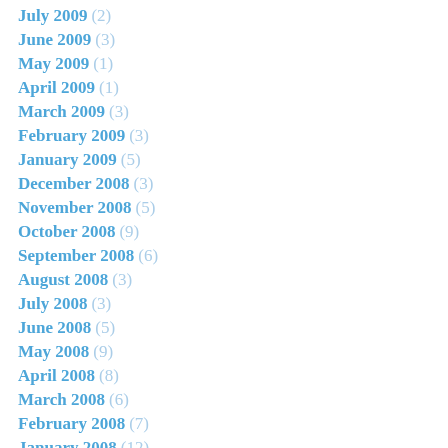July 2009 (2)
June 2009 (3)
May 2009 (1)
April 2009 (1)
March 2009 (3)
February 2009 (3)
January 2009 (5)
December 2008 (3)
November 2008 (5)
October 2008 (9)
September 2008 (6)
August 2008 (3)
July 2008 (3)
June 2008 (5)
May 2008 (9)
April 2008 (8)
March 2008 (6)
February 2008 (7)
January 2008 (12)
December 2007 (10)